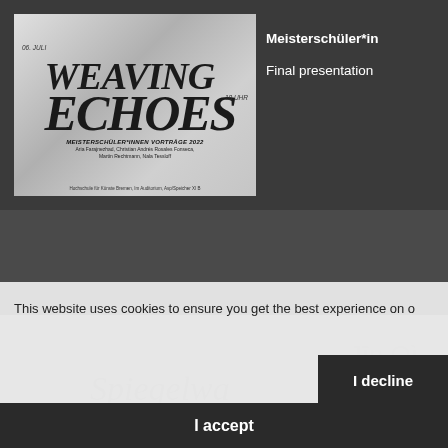[Figure (illustration): Weaving Echoes event poster - Meisterschüler*innen Vorträge 2022, 06. Juli, 18 Uhr, Hochschule für Künste Bremen, featuring names: Aria Farajnezhad, Christian Andrés Rosales Fonseca, Martin Rechtmann, Nala Tessloff]
Meisterschüler*in
Final presentation
This website uses cookies to ensure you get the best experience on o
Jīn Qì
Spiegelwa
I decline
I accept